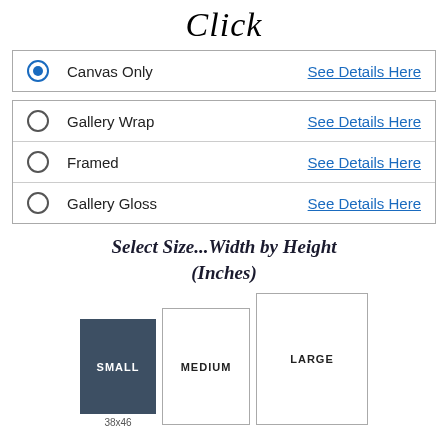Click
|  | Option | Link |
| --- | --- | --- |
| ● (selected) | Canvas Only | See Details Here |
| ○ | Gallery Wrap | See Details Here |
| ○ | Framed | See Details Here |
| ○ | Gallery Gloss | See Details Here |
Select Size...Width by Height (Inches)
[Figure (infographic): Three size selection boxes: SMALL (dark background, selected), MEDIUM (outline), LARGE (outline). Below SMALL is label '38x46'.]